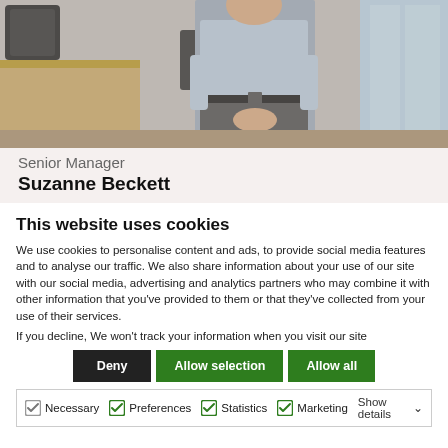[Figure (photo): Office photo showing a person (male, business casual, light blue shirt, dark trousers) standing in a conference room with large windows, chairs, and a wooden table.]
Senior Manager
Suzanne Beckett
This website uses cookies
We use cookies to personalise content and ads, to provide social media features and to analyse our traffic. We also share information about your use of our site with our social media, advertising and analytics partners who may combine it with other information that you've provided to them or that they've collected from your use of their services.
If you decline, We won't track your information when you visit our site
Deny | Allow selection | Allow all
Necessary | Preferences | Statistics | Marketing | Show details